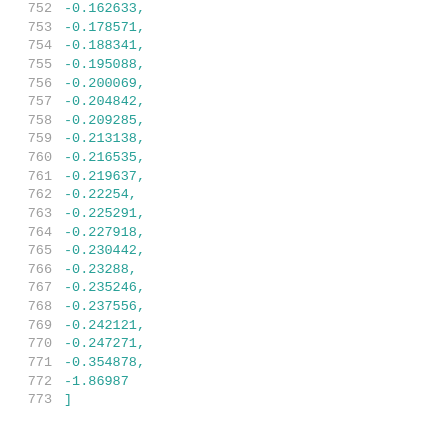752   -0.162633,
753   -0.178571,
754   -0.188341,
755   -0.195088,
756   -0.200069,
757   -0.204842,
758   -0.209285,
759   -0.213138,
760   -0.216535,
761   -0.219637,
762   -0.22254,
763   -0.225291,
764   -0.227918,
765   -0.230442,
766   -0.23288,
767   -0.235246,
768   -0.237556,
769   -0.242121,
770   -0.247271,
771   -0.354878,
772   -1.86987
773   ]